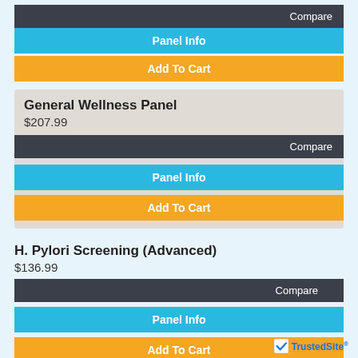Compare
Panel Info
Add To Cart
General Wellness Panel
$207.99
Compare
Panel Info
Add To Cart
H. Pylori Screening (Advanced)
$136.99
Compare
Panel Info
Add To Cart
Hemoglobin A1c (HbA1c) with Glucose, Serum
$81.99